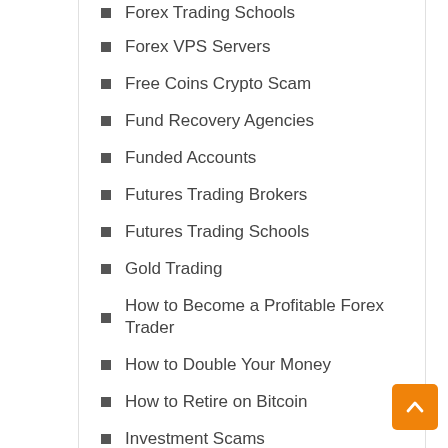Forex Trading Schools
Forex VPS Servers
Free Coins Crypto Scam
Fund Recovery Agencies
Funded Accounts
Futures Trading Brokers
Futures Trading Schools
Gold Trading
How to Become a Profitable Forex Trader
How to Double Your Money
How to Retire on Bitcoin
Investment Scams
Managed Accounts
Managed Forex Account Services
NFT Investing
Options Trading